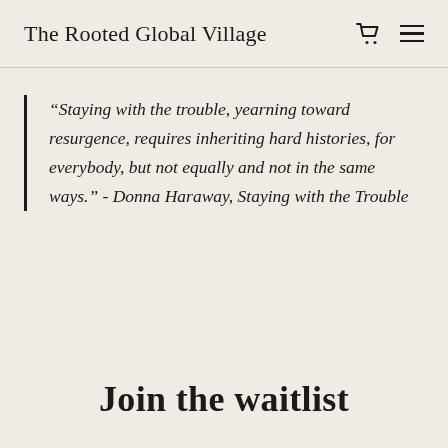The Rooted Global Village
“Staying with the trouble, yearning toward resurgence, requires inheriting hard histories, for everybody, but not equally and not in the same ways.” - Donna Haraway, Staying with the Trouble
Join the waitlist